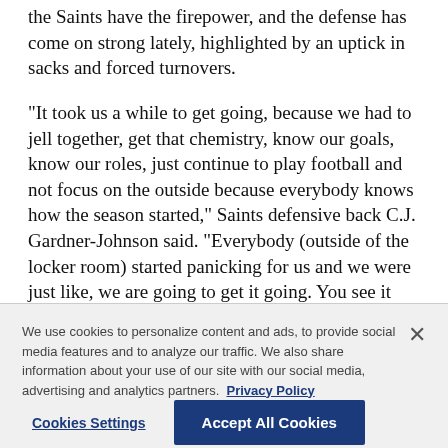the Saints have the firepower, and the defense has come on strong lately, highlighted by an uptick in sacks and forced turnovers.
“It took us a while to get going, because we had to jell together, get that chemistry, know our goals, know our roles, just continue to play football and not focus on the outside because everybody knows how the season started,” Saints defensive back C.J. Gardner-Johnson said. “Everybody (outside of the locker room) started panicking for us and we were just like, we are going to get it going. You see it coming together in the
We use cookies to personalize content and ads, to provide social media features and to analyze our traffic. We also share information about your use of our site with our social media, advertising and analytics partners. Privacy Policy
Cookies Settings
Accept All Cookies